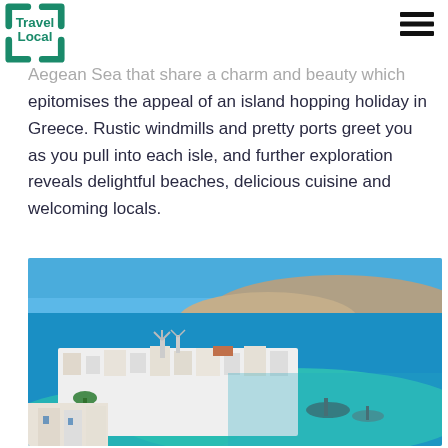Travel Local
Aegean Sea that share a charm and beauty which epitomises the appeal of an island hopping holiday in Greece. Rustic windmills and pretty ports greet you as you pull into each isle, and further exploration reveals delightful beaches, delicious cuisine and welcoming locals.
[Figure (photo): Aerial view of Mykonos island, Greece, showing whitewashed buildings, blue sea, windmills, and a harbour with boats on a sunny day]